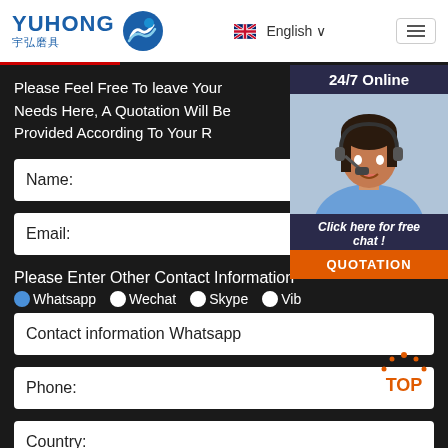[Figure (logo): YUHONG logo with blue wave icon and Chinese text 宇弘磨具]
English
Please Feel Free To leave Your Needs Here, A Quotation Will Be Provided According To Your R
[Figure (photo): Customer service representative wearing headset, 24/7 Online badge, Click here for free chat!, QUOTATION button]
Name:
Email:
Please Enter Other Contact Information
Whatsapp   Wechat   Skype   Vib
Contact information Whatsapp
Phone:
Country: